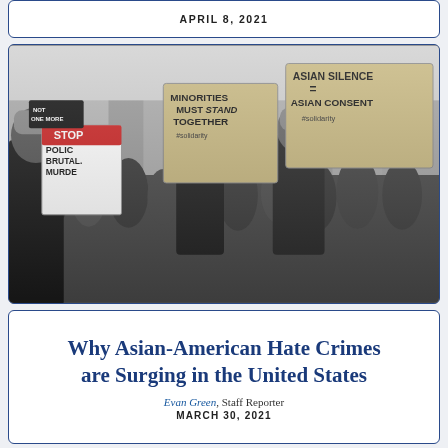APRIL 8, 2021
[Figure (photo): Black and white photograph of a street protest. Demonstrators hold signs reading 'MINORITIES MUST STAND TOGETHER #solidarity', 'ASIAN SILENCE = ASIAN CONSENT #solidarity', 'STOP POLICE BRUTAL. MURDE...', and 'NOT ONE MORE'. A crowd of people fills the street in an urban setting.]
Why Asian-American Hate Crimes are Surging in the United States
Evan Green, Staff Reporter
MARCH 30, 2021